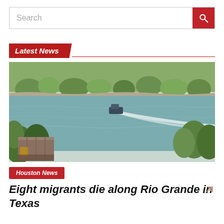Search
Latest News
[Figure (photo): Aerial view of the Rio Grande river with a patrol boat creating a wake on the water. Lush green trees line both banks. A shipping container is visible in the lower left corner.]
Houston News
Eight migrants die along Rio Grande in Texas